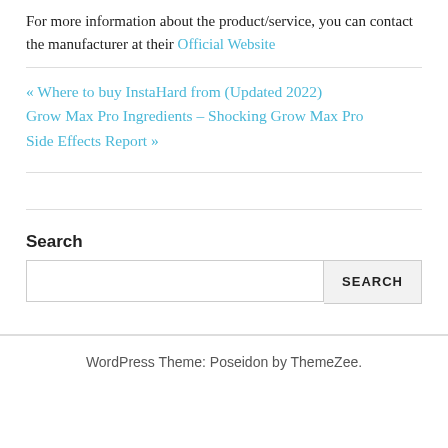For more information about the product/service, you can contact the manufacturer at their Official Website
« Where to buy InstaHard from (Updated 2022) Grow Max Pro Ingredients – Shocking Grow Max Pro Side Effects Report »
Search
WordPress Theme: Poseidon by ThemeZee.